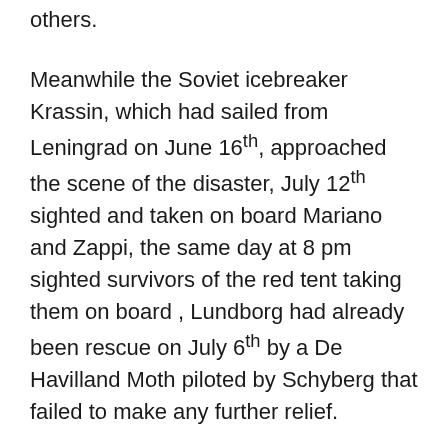others.
Meanwhile the Soviet icebreaker Krassin, which had sailed from Leningrad on June 16th, approached the scene of the disaster, July 12th sighted and taken on board Mariano and Zappi, the same day at 8 pm sighted survivors of the red tent taking them on board , Lundborg had already been rescue on July 6th by a De Havilland Moth piloted by Schyberg that failed to make any further relief.
The return home of Nobile was full of controversy, due to the fact that he was the first to rescue, he resigned from the air force. One of the major opponents of Nobile was Cesare Balbo, who aspired to succeed Mussolini, but the reputation of Nobile, obscuring his figure, made it more difficult its political purposes.